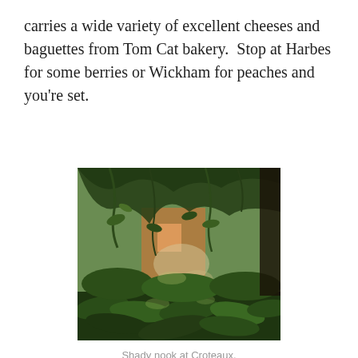carries a wide variety of excellent cheeses and baguettes from Tom Cat bakery.  Stop at Harbes for some berries or Wickham for peaches and you're set.
[Figure (photo): A shady garden nook with lush green foliage, hanging leaves, and a glimpse of a building in the background, viewed through tree branches.]
Shady nook at Croteaux.